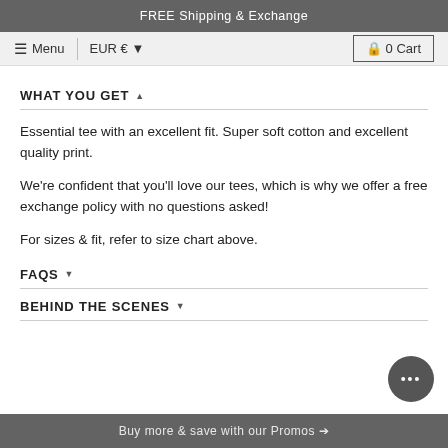FREE Shipping & Exchange
Menu | EUR € ▼ | 🔒 0 Cart
WHAT YOU GET ▲
Essential tee with an excellent fit. Super soft cotton and excellent quality print.
We're confident that you'll love our tees, which is why we offer a free exchange policy with no questions asked!
For sizes & fit, refer to size chart above.
FAQS ▾
BEHIND THE SCENES ▾
Buy more & save with our Promos →